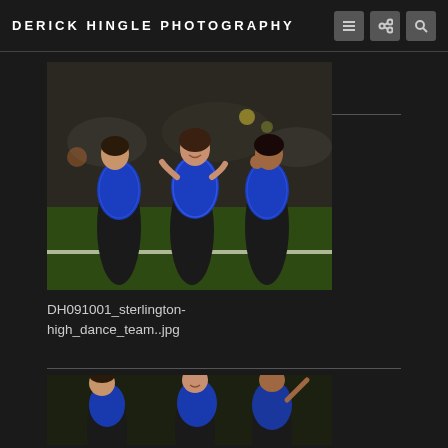DERICK HINGLE PHOTOGRAPHY
[Figure (photo): Three female dancers in blue sequined tops and black pants performing on a football field at night, stadium bleachers with spectators in background]
DH091001_sterlington-high_dance_team..jpg
[Figure (photo): Partial view of dancers on football field, second photo in series, cropped at bottom of page]